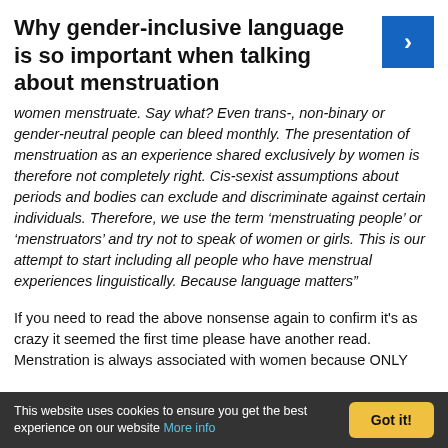Why gender-inclusive language is so important when talking about menstruation
women menstruate. Say what? Even trans-, non-binary or gender-neutral people can bleed monthly. The presentation of menstruation as an experience shared exclusively by women is therefore not completely right. Cis-sexist assumptions about periods and bodies can exclude and discriminate against certain individuals. Therefore, we use the term ‘menstruating people’ or ‘menstruators’ and try not to speak of women or girls. This is our attempt to start including all people who have menstrual experiences linguistically. Because language matters”
If you need to read the above nonsense again to confirm it's as crazy it seemed the first time please have another read. Menstration is always associated with women because ONLY
This website uses cookies to ensure you get the best experience on our website More info